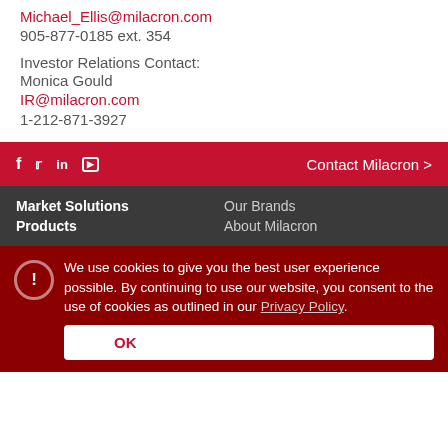Michael_Ellis@milacron.com
905-877-0185 ext. 354
Investor Relations Contact:
Monica Gould
IR@milacron.com
1-212-871-3927
f  t  in  yt  Contact Milacron >
Market Solutions  Products  Our Brands  About Milacron
We use cookies to give you the best user experience possible. By continuing to use our website, you consent to the use of cookies as outlined in our Privacy Policy. OK